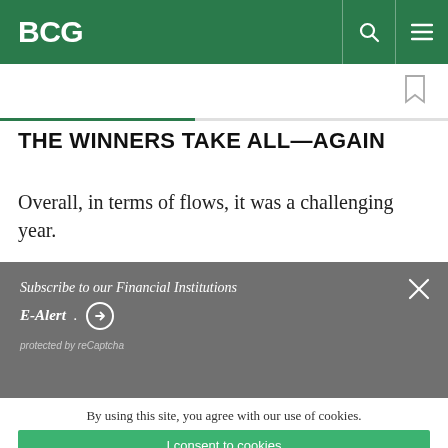BCG
THE WINNERS TAKE ALL—AGAIN
Overall, in terms of flows, it was a challenging year.
Subscribe to our Financial Institutions E-Alert . protected by reCaptcha
By using this site, you agree with our use of cookies. I consent to cookies Want to know more? Read our Cookie Policy